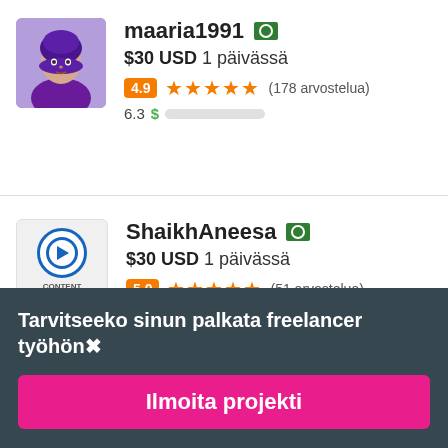[Figure (photo): Profile photo of maaria1991, a woman wearing a scarf]
maaria1991 🇵🇰
$30 USD 1 päivässä
4.9 ★★★★★ (178 arvostelua)
6.3 $ ████████░░
[Figure (logo): Content 360 logo — circular icon with play button and text CONTENT 360]
ShaikhAneesa 🇵🇰
$30 USD 1 päivässä
5.0 ★★★★★ (51 arvostelua)
Tarvitseeko sinun palkata freelancer työhön✕
Ilmoita projekti